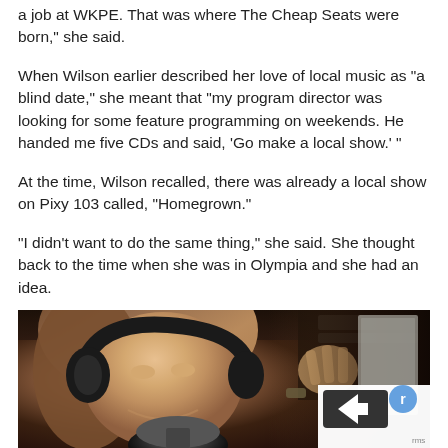a job at WKPE. That was where The Cheap Seats were born,” she said.
When Wilson earlier described her love of local music as “a blind date,” she meant that “my program director was looking for some feature programming on weekends. He handed me five CDs and said, ‘Go make a local show.’ ”
At the time, Wilson recalled, there was already a local show on Pixy 103 called, “Homegrown.”
“I didn’t want to do the same thing,” she said. She thought back to the time when she was in Olympia and she had an idea.
[Figure (photo): A woman wearing headphones smiling and speaking into a microphone in a radio studio. She has brown hair and is gesturing with her hand in the background.]